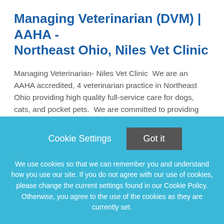Managing Veterinarian (DVM) | AAHA - Northeast Ohio, Niles Vet Clinic
Managing Veterinarian- Niles Vet Clinic  We are an AAHA accredited, 4 veterinarian practice in Northeast Ohio providing high quality full-service care for dogs, cats, and pocket pets.  We are committed to providing exceptional
This job listing is no longer active.
Cookie Settings
Got it
We use cookies so that we can remember you and understand how you use our site. If you do not agree with our use of cookies, please change the current settings found in our Cookie Policy. Otherwise, you agree to the use of the cookies as they are currently set.